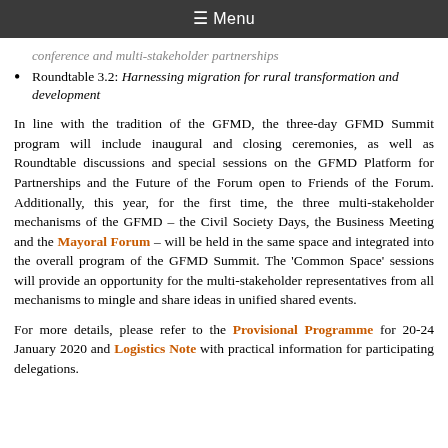≡ Menu
conference and multi-stakeholder partnerships
Roundtable 3.2: Harnessing migration for rural transformation and development
In line with the tradition of the GFMD, the three-day GFMD Summit program will include inaugural and closing ceremonies, as well as Roundtable discussions and special sessions on the GFMD Platform for Partnerships and the Future of the Forum open to Friends of the Forum. Additionally, this year, for the first time, the three multi-stakeholder mechanisms of the GFMD – the Civil Society Days, the Business Meeting and the Mayoral Forum – will be held in the same space and integrated into the overall program of the GFMD Summit. The 'Common Space' sessions will provide an opportunity for the multi-stakeholder representatives from all mechanisms to mingle and share ideas in unified shared events.
For more details, please refer to the Provisional Programme for 20-24 January 2020 and Logistics Note with practical information for participating delegations.